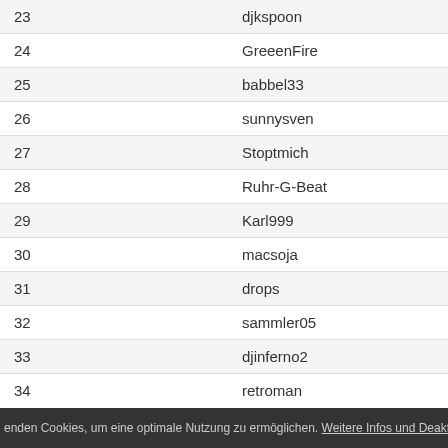| # | Username |
| --- | --- |
| 23 | djkspoon |
| 24 | GreeenFire |
| 25 | babbel33 |
| 26 | sunnysven |
| 27 | Stoptmich |
| 28 | Ruhr-G-Beat |
| 29 | Karl999 |
| 30 | macsoja |
| 31 | drops |
| 32 | sammler05 |
| 33 | djinferno2 |
| 34 | retroman |
| 35 | sonax |
| 36 | valeri |
| 37 | chessman |
| 38 | mscacy2 |
enden Cookies, um eine optimale Nutzung zu ermöglichen. Weitere Infos und Deaktivierung